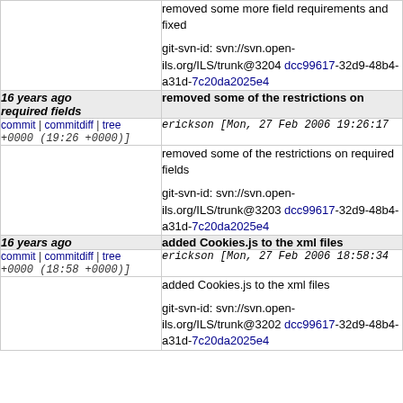removed some more field requirements and fixed
git-svn-id: svn://svn.open-ils.org/ILS/trunk@3204 dcc99617-32d9-48b4-a31d-7c20da2025e4
16 years ago
required fields
removed some of the restrictions on
commit | commitdiff | tree
erickson [Mon, 27 Feb 2006 19:26:17 +0000 (19:26 +0000)]
removed some of the restrictions on required fields
git-svn-id: svn://svn.open-ils.org/ILS/trunk@3203 dcc99617-32d9-48b4-a31d-7c20da2025e4
16 years ago
added Cookies.js to the xml files
commit | commitdiff | tree
erickson [Mon, 27 Feb 2006 18:58:34 +0000 (18:58 +0000)]
added Cookies.js to the xml files
git-svn-id: svn://svn.open-ils.org/ILS/trunk@3202 dcc99617-32d9-48b4-a31d-7c20da2025e4